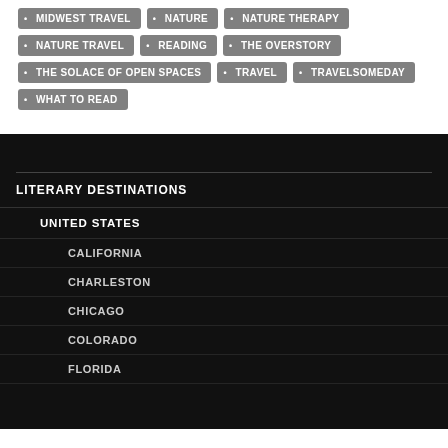MIDWEST TRAVEL
NATURE
NATURE THERAPY
NATURE TRAVEL
READING
THE OVERSTORY
THE SOLACE OF OPEN SPACES
TRAVEL
TRAVELSOMEDAY
WHAT TO READ
LITERARY DESTINATIONS
UNITED STATES
CALIFORNIA
CHARLESTON
CHICAGO
COLORADO
FLORIDA